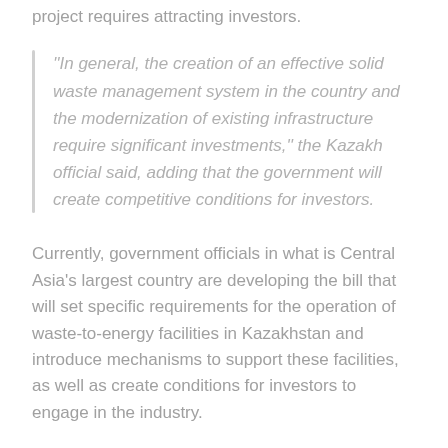project requires attracting investors.
"In general, the creation of an effective solid waste management system in the country and the modernization of existing infrastructure require significant investments,'' the Kazakh official said, adding that the government will create competitive conditions for investors.
Currently, government officials in what is Central Asia's largest country are developing the bill that will set specific requirements for the operation of waste-to-energy facilities in Kazakhstan and introduce mechanisms to support these facilities, as well as create conditions for investors to engage in the industry.
Last year, Kazakhstan's ecology, geology, and natural resources agency announced that the country would